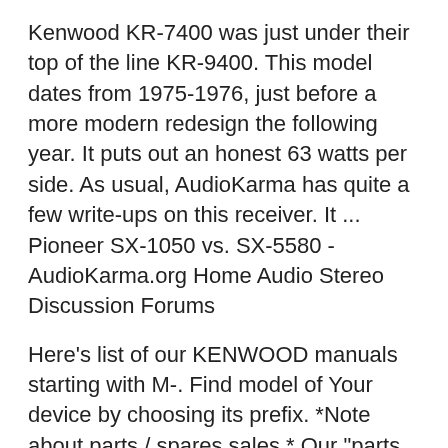Kenwood KR-7400 was just under their top of the line KR-9400. This model dates from 1975-1976, just before a more modern redesign the following year. It puts out an honest 63 watts per side. As usual, AudioKarma has quite a few write-ups on this receiver. It ... Pioneer SX-1050 vs. SX-5580 - AudioKarma.org Home Audio Stereo Discussion Forums
Here's list of our KENWOOD manuals starting with M-. Find model of Your device by choosing its prefix. *Note about parts / spares sales * Our "parts units", parts / spares and related reference information are primarily archived for the purpose of restoration /